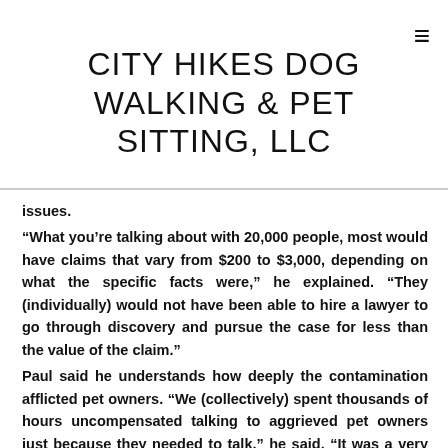CITY HIKES DOG WALKING & PET SITTING, LLC
issues.
“What you’re talking about with 20,000 people, most would have claims that vary from $200 to $3,000, depending on what the specific facts were,” he explained. “They (individually) would not have been able to hire a lawyer to go through discovery and pursue the case for less than the value of the claim.”
Paul said he understands how deeply the contamination afflicted pet owners. “We (collectively) spent thousands of hours uncompensated talking to aggrieved pet owners just because they needed to talk,” he said. “It was a very tragic situation. Tragic. No amount